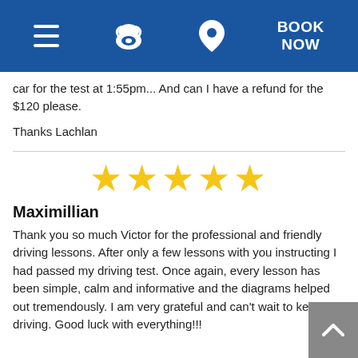Navigation bar with hamburger menu, phone icon, location pin icon, and BOOK NOW button
car for the test at 1:55pm... And can I have a refund for the $120 please.
Thanks Lachlan
[Figure (other): Five yellow star rating icons in a row]
Maximillian
Thank you so much Victor for the professional and friendly driving lessons. After only a few lessons with you instructing I had passed my driving test. Once again, every lesson has been simple, calm and informative and the diagrams helped out tremendously. I am very grateful and can't wait to keep on driving. Good luck with everything!!!